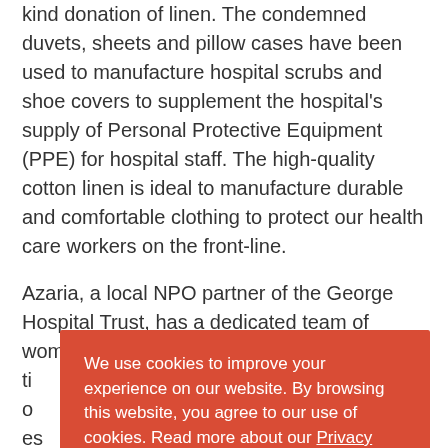kind donation of linen. The condemned duvets, sheets and pillow cases have been used to manufacture hospital scrubs and shoe covers to supplement the hospital's supply of Personal Protective Equipment (PPE) for hospital staff. The high-quality cotton linen is ideal to manufacture durable and comfortable clothing to protect our health care workers on the front-line.
Azaria, a local NPO partner of the George Hospital Trust, has a dedicated team of women who have w... ti... o... es... Fa... of...
We use cookies to improve your experience on our website. By browsing this website, you agree to our use of cookies. Read more about our Privacy Policy.
I accept
O... delivery of personal protective clothing, which will be